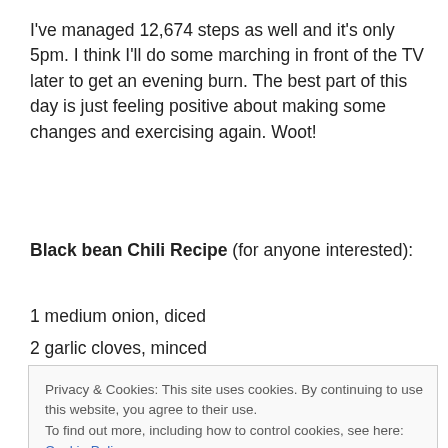I've managed 12,674 steps as well and it's only 5pm. I think I'll do some marching in front of the TV later to get an evening burn. The best part of this day is just feeling positive about making some changes and exercising again. Woot!
Black bean Chili Recipe (for anyone interested):
1 medium onion, diced
2 garlic cloves, minced
Privacy & Cookies: This site uses cookies. By continuing to use this website, you agree to their use.
To find out more, including how to control cookies, see here: Cookie Policy
Close and accept